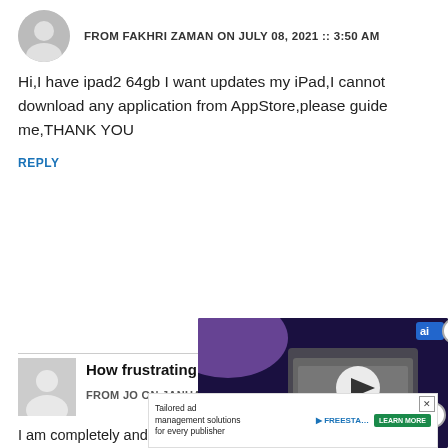FROM FAKHRI ZAMAN ON JULY 08, 2021 :: 3:50 AM
Hi,I have ipad2 64gb I want updates my iPad,I cannot download any application from AppStore,please guide me,THANK YOU
REPLY
How frustrating using an iPad can be!!
FROM JO ON JANUARY 12, 2021 :: 5:01 PM
I am completely and utterly frustrated w my iPad, I am trying to sync info from a lost android to my older iPad and i am so confused, I don't know but the bas... know which browser I'm in or wh... or the passwords for certain apps... so!!!!!  It does explain it at all as y... choices on the pages are basic un... nowhere, it has had me change m... now I ... e and differ... disso... I'm...
[Figure (screenshot): Partially visible video advertisement overlay showing stacked devices with 'Best Mac for College' text and a play button, with a close (X) button]
[Figure (screenshot): Banner advertisement for 'Tailored ad management solutions for every publisher' with FREESTAR branding and LEARN MORE button, with an X close button]